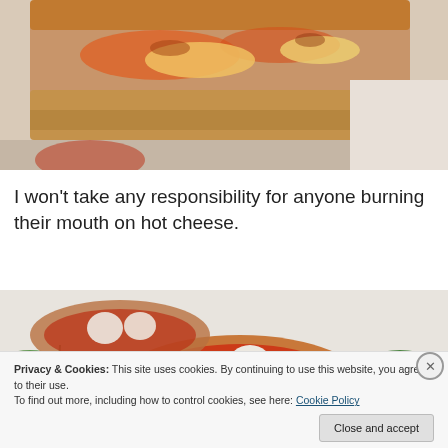[Figure (photo): Close-up photo of a slice of pizza or bread with tomato sauce and melted cheese on top]
I won't take any responsibility for anyone burning their mouth on hot cheese.
[Figure (photo): Photo of a pizza bagel topped with tomato sauce, mozzarella cheese balls and fresh basil leaves, with a second one in the background]
Privacy & Cookies: This site uses cookies. By continuing to use this website, you agree to their use.
To find out more, including how to control cookies, see here: Cookie Policy
Close and accept